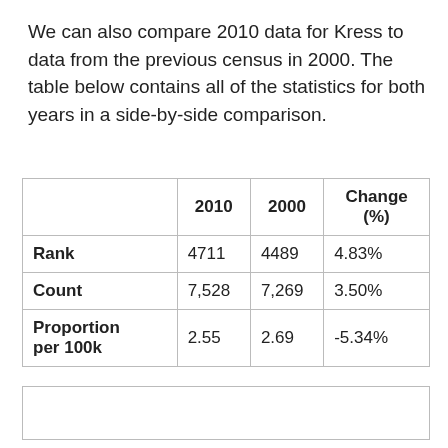We can also compare 2010 data for Kress to data from the previous census in 2000. The table below contains all of the statistics for both years in a side-by-side comparison.
|  | 2010 | 2000 | Change (%) |
| --- | --- | --- | --- |
| Rank | 4711 | 4489 | 4.83% |
| Count | 7,528 | 7,269 | 3.50% |
| Proportion per 100k | 2.55 | 2.69 | -5.34% |